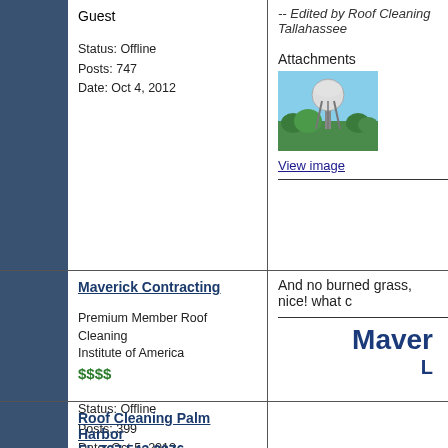Guest
Status: Offline
Posts: 747
Date: Oct 4, 2012
-- Edited by Roof Cleaning Tallahassee
Attachments
[Figure (photo): Water tower photo with blue sky and trees]
View image
Maverick Contracting
Premium Member Roof Cleaning Institute of America
$$$$
Status: Offline
Posts: 399
Date: Oct 5, 2012
And no burned grass, nice! what c
Maver
L
Roof Cleaning Palm Harbor FL 727 543 3276